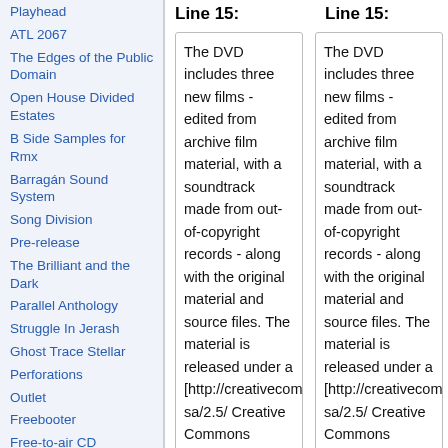Playhead
ATL 2067
The Edges of the Public Domain
Open House Divided Estates
B Side Samples for Rmx
Barragán Sound System
Song Division
Pre-release
The Brilliant and the Dark
Parallel Anthology
Struggle In Jerash
Ghost Trace Stellar
Perforations
Outlet
Freebooter
Free-to-air CD
Declose
Screen Tests
Clips Blips and Loops
Free-to-air
>> Future Projects
Line 15:
Line 15:
The DVD includes three new films - edited from archive film material, with a soundtrack made from out-of-copyright records - along with the original material and source files. The material is released under a [http://creativecommons.org/licenses/by-sa/2.5/ Creative Commons license], enabling anyone to use
The DVD includes three new films - edited from archive film material, with a soundtrack made from out-of-copyright records - along with the original material and source files. The material is released under a [http://creativecommons.org/licenses/by-sa/2.5/ Creative Commons license], enabling anyone to use